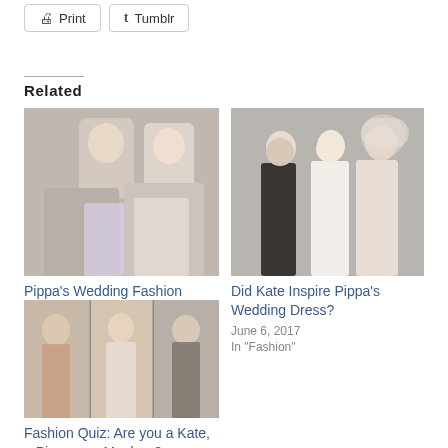Print
Tumblr
Related
[Figure (photo): Couple walking outdoors, man in white shirt and woman in white ruffled blouse]
Pippa's Wedding Fashion Recap
June 24, 2017
In "Fashion"
[Figure (photo): Wedding party group photo, woman in white dress with man in suit and woman in pink outfit]
Did Kate Inspire Pippa's Wedding Dress?
June 6, 2017
In "Fashion"
[Figure (photo): Collage of three women in different outfits]
Fashion Quiz: Are you a Kate, a Pippa or a Meghan?